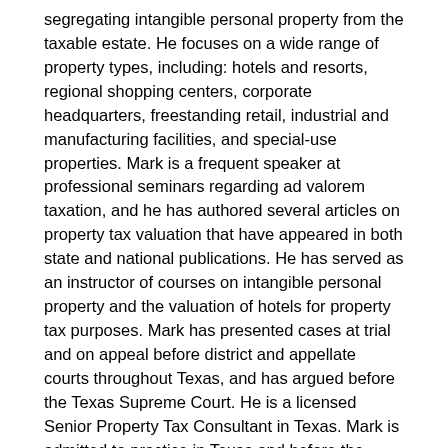segregating intangible personal property from the taxable estate. He focuses on a wide range of property types, including: hotels and resorts, regional shopping centers, corporate headquarters, freestanding retail, industrial and manufacturing facilities, and special-use properties. Mark is a frequent speaker at professional seminars regarding ad valorem taxation, and he has authored several articles on property tax valuation that have appeared in both state and national publications. He has served as an instructor of courses on intangible personal property and the valuation of hotels for property tax purposes. Mark has presented cases at trial and on appeal before district and appellate courts throughout Texas, and has argued before the Texas Supreme Court. He is a licensed Senior Property Tax Consultant in Texas. Mark is admitted to practice in Texas and before the United States District Court for the Western District of Texas, and he is a member of the Travis County Bar Association and the State Bar of Texas.
Prior to joining the firm, Mark gained trial and governmental relations experience as an attorney with the Austin office of Baker Botts. During his tenure at Baker Botts, the majority of his practice was devoted to complex civil litigation, and he represented publicly held corporations, energy companies,